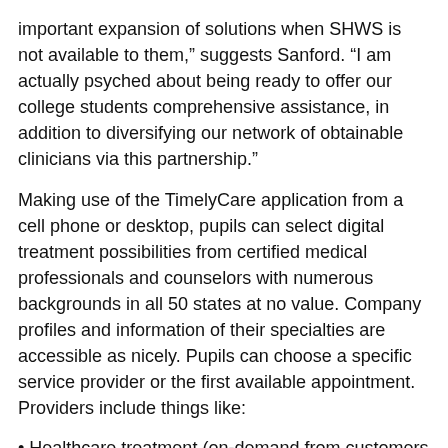important expansion of solutions when SHWS is not available to them,” suggests Sanford. “I am actually psyched about being ready to offer our college students comprehensive assistance, in addition to diversifying our network of obtainable clinicians via this partnership.”
Making use of the TimelyCare application from a cell phone or desktop, pupils can select digital treatment possibilities from certified medical professionals and counselors with numerous backgrounds in all 50 states at no value. Company profiles and information of their specialties are accessible as nicely. Pupils can choose a specific service provider or the first available appointment. Providers include things like:
• Healthcare treatment (on-demand from customers and appointment-dependent)
• Psychological wellbeing counseling (on-desire and appointment-dependent)
• Psychiatric assist (upon interior referral)